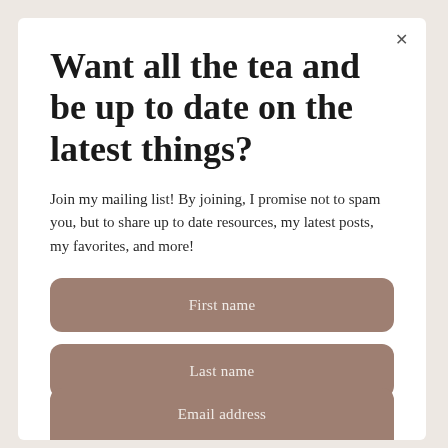Want all the tea and be up to date on the latest things?
Join my mailing list! By joining, I promise not to spam you, but to share up to date resources, my latest posts, my favorites, and more!
First name
Last name
Email address